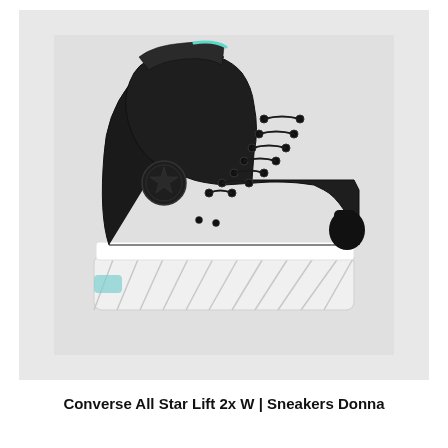[Figure (photo): Converse All Star Lift 2x W platform sneaker in black with teal/mint accent detail near the ankle, thick white ribbed platform sole, high-top canvas upper with black laces and eyelets, Chuck Taylor star ankle patch, photographed on a light grey background.]
Converse All Star Lift 2x W | Sneakers Donna